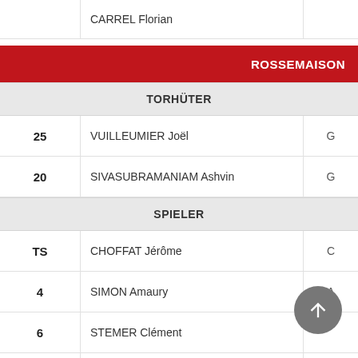| # | Name |  |
| --- | --- | --- |
|  | CARREL Florian |  |
ROSSEMAISON
TORHÜTER
| # | Name | Role |
| --- | --- | --- |
| 25 | VUILLEUMIER Joël | G |
| 20 | SIVASUBRAMANIAM Ashvin | G |
SPIELER
| # | Name | Role |
| --- | --- | --- |
| TS | CHOFFAT Jérôme | C |
| 4 | SIMON Amaury | A |
| 6 | STEMER Clément |  |
| 10 | STEMER Vincent |  |
| 95 | CHOFFAT Gautier |  |
| 99 | HIRT Yaël |  |
| 94 | STUDER Bastien |  |
| 92 | TURBERG Julien |  |